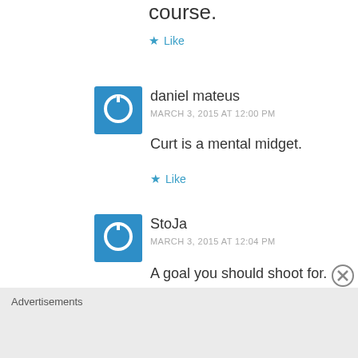course.
★ Like
[Figure (illustration): Blue square avatar with white power button icon for user daniel mateus]
daniel mateus
MARCH 3, 2015 AT 12:00 PM
Curt is a mental midget.
★ Like
[Figure (illustration): Blue square avatar with white power button icon for user StoJa]
StoJa
MARCH 3, 2015 AT 12:04 PM
A goal you should shoot for.
Advertisements